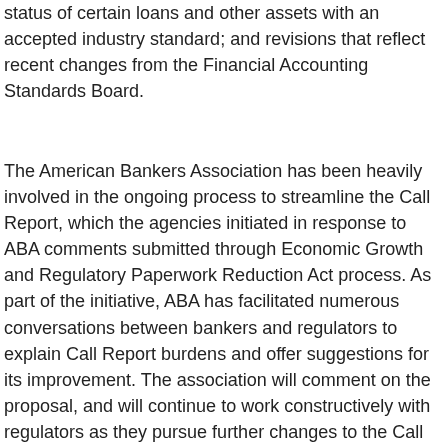status of certain loans and other assets with an accepted industry standard; and revisions that reflect recent changes from the Financial Accounting Standards Board.
The American Bankers Association has been heavily involved in the ongoing process to streamline the Call Report, which the agencies initiated in response to ABA comments submitted through Economic Growth and Regulatory Paperwork Reduction Act process. As part of the initiative, ABA has facilitated numerous conversations between bankers and regulators to explain Call Report burdens and offer suggestions for its improvement. The association will comment on the proposal, and will continue to work constructively with regulators as they pursue further changes to the Call Report. For more information, contact ABA's Alison Touhey.